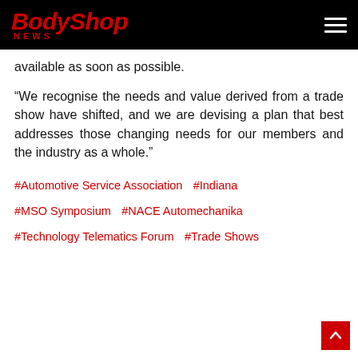BodyShop NEWS
available as soon as possible.
“We recognise the needs and value derived from a trade show have shifted, and we are devising a plan that best addresses those changing needs for our members and the industry as a whole.”
#Automotive Service Association
#Indiana
#MSO Symposium
#NACE Automechanika
#Technology Telematics Forum
#Trade Shows